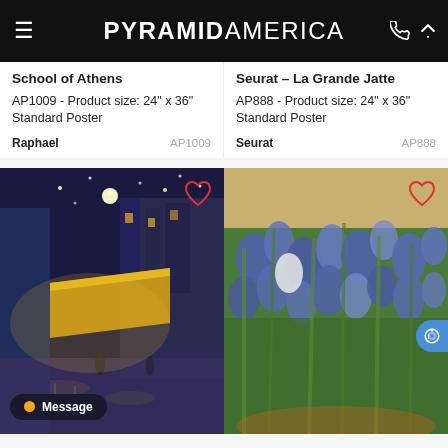PYRAMID AMERICA
School of Athens
AP1009 - Product size: 24" x 36" Standard Poster
Raphael   AP1009
Seurat – La Grande Jatte
AP888 - Product size: 24" x 36" Standard Poster
Seurat   AP888
[Figure (photo): Van Gogh Cafe Terrace at Night painting — illuminated yellow café terrace with tables and chairs under a starry night sky]
[Figure (photo): Van Gogh Irises painting — dense blue and purple irises with green foliage]
Message